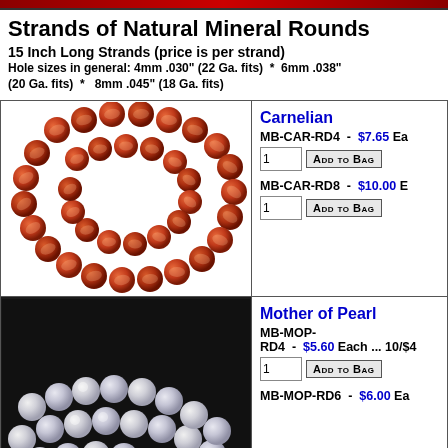Strands of Natural Mineral Rounds
15 Inch Long Strands (price is per strand)
Hole sizes in general: 4mm .030" (22 Ga. fits) * 6mm .038" (20 Ga. fits) * 8mm .045" (18 Ga. fits)
[Figure (photo): Two strands of orange-red carnelian round beads coiled on white background]
Carnelian
MB-CAR-RD4 - $7.65 Each
1 [Add to Bag]
MB-CAR-RD8 - $10.00 Each
1 [Add to Bag]
[Figure (photo): Strands of white/translucent Mother of Pearl round beads on dark background]
Mother of Pearl
MB-MOP-RD4 - $5.60 Each ... 10/$4
1 [Add to Bag]
MB-MOP-RD6 - $6.00 Each